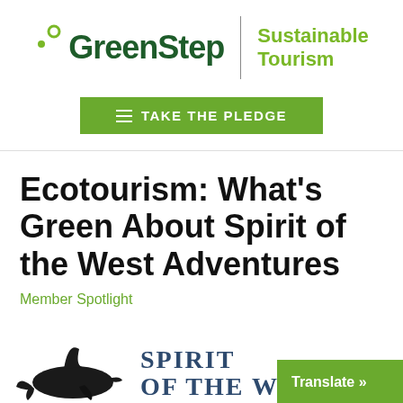[Figure (logo): GreenStep Sustainable Tourism logo: dark green 'GreenStep' wordmark with two green dots icon, vertical divider line, and lime green 'Sustainable Tourism' text]
[Figure (other): Green button with hamburger menu icon and text 'TAKE THE PLEDGE']
Ecotourism: What's Green About Spirit of the West Adventures
Member Spotlight
[Figure (logo): Spirit of the West Adventures logo: orca whale silhouette and text 'SPIRIT OF THE WEST' in navy serif font, partially visible at bottom of page. A green 'Translate »' button overlays the bottom right.]